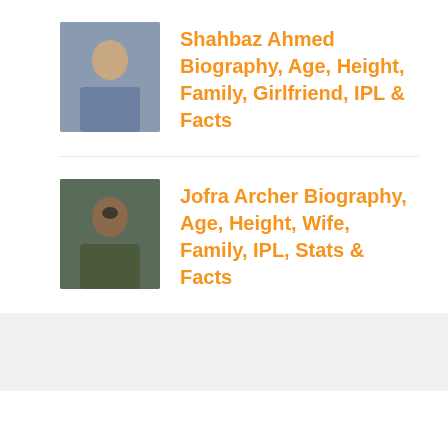Shahbaz Ahmed Biography, Age, Height, Family, Girlfriend, IPL & Facts
Jofra Archer Biography, Age, Height, Wife, Family, IPL, Stats & Facts
Privacy Policy   Terms & Conditions   Contact Us